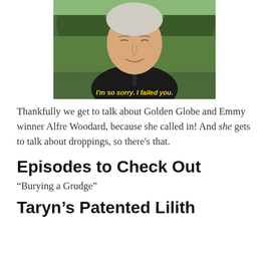[Figure (photo): An elderly man in a dark suit and tie, outdoors with green trees in background. Subtitle text reads: I'm so sorry. I failed you.]
Thankfully we get to talk about Golden Globe and Emmy winner Alfre Woodard, because she called in! And she gets to talk about droppings, so there's that.
Episodes to Check Out
“Burying a Grudge”
Taryn’s Patented Lilith